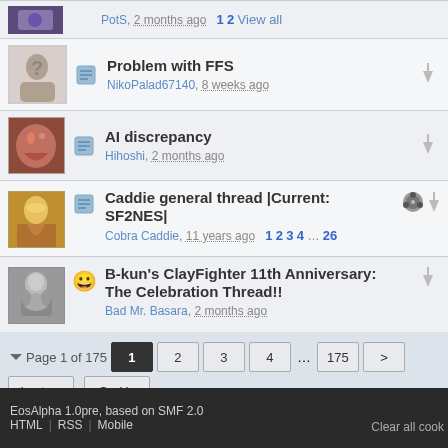PotS, 2 months ago  1 2 View all
Problem with FFS — NikoPalad67140, 8 weeks ago
AI discrepancy — Hihoshi, 2 months ago
Caddie general thread |Current: SF2NES| — Cobra Caddie, 11 years ago  1 2 3 4 … 26
B-kun's ClayFighter 11th Anniversary: The Celebration Thread!! — Bad Mr. Basara, 2 months ago
Page 1 of 175  1 2 3 4 … 175 > Last → Go Up
The Mugen Fighters Guild → M.U.G.E.N Central → M.U.G.E.N Discussion
EosAlpha 1.0pre, based on SMF 2.0  HTML | RSS | Mobile   Clear all cook